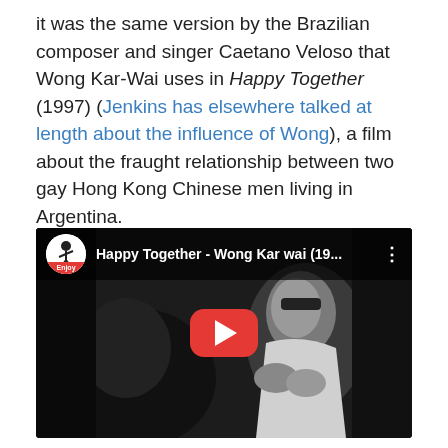it was the same version by the Brazilian composer and singer Caetano Veloso that Wong Kar-Wai uses in Happy Together (1997) (Jenkins has elsewhere talked at length about the influence of Wong), a film about the fraught relationship between two gay Hong Kong Chinese men living in Argentina.
[Figure (screenshot): Embedded YouTube video thumbnail showing a black-and-white still from the film 'Happy Together' by Wong Kar-wai (1997), with a play button overlay and channel header showing 'Happy Together - Wong Kar wai (19...']